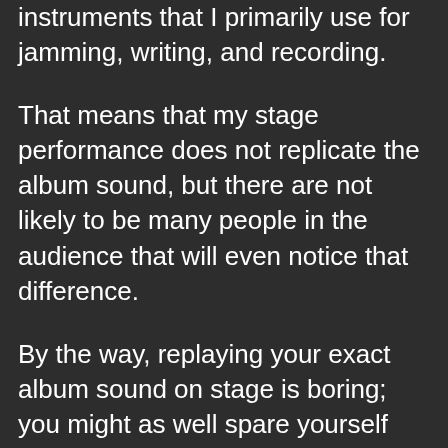instruments that I primarily use for jamming, writing, and recording.
That means that my stage performance does not replicate the album sound, but there are not likely to be many people in the audience that will even notice that difference.
By the way, replaying your exact album sound on stage is boring; you might as well spare yourself the effort, and just hook up a CD player to the stage speakers. My record features five of my guitars, two ukuleles, a banjo, a mandolin,